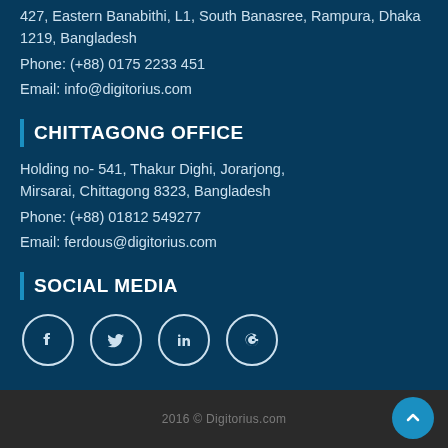427, Eastern Banabithi, L1, South Banasree, Rampura, Dhaka 1219, Bangladesh
Phone:  (+88) 0175 2233 451
Email:  info@digitorius.com
CHITTAGONG OFFICE
Holding no- 541, Thakur Dighi, Jorarjong, Mirsarai, Chittagong 8323, Bangladesh
Phone:  (+88) 01812 549277
Email:  ferdous@digitorius.com
SOCIAL MEDIA
[Figure (infographic): Social media icons: Facebook, Twitter, LinkedIn, Google in circular outlines]
2016 © Digitorius.com